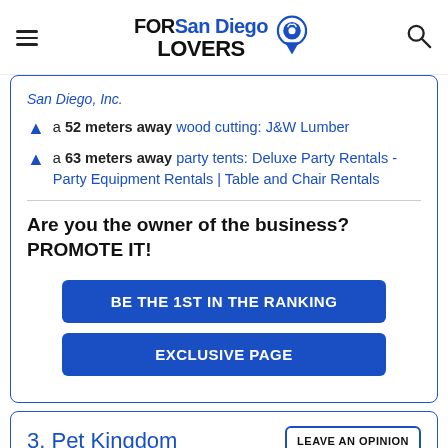FORSanDiego LOVERS
San Diego, Inc.
a 52 meters away wood cutting: J&W Lumber
a 63 meters away party tents: Deluxe Party Rentals - Party Equipment Rentals | Table and Chair Rentals
Are you the owner of the business? PROMOTE IT!
BE THE 1ST IN THE RANKING
EXCLUSIVE PAGE
3. Pet Kingdom
LEAVE AN OPINION